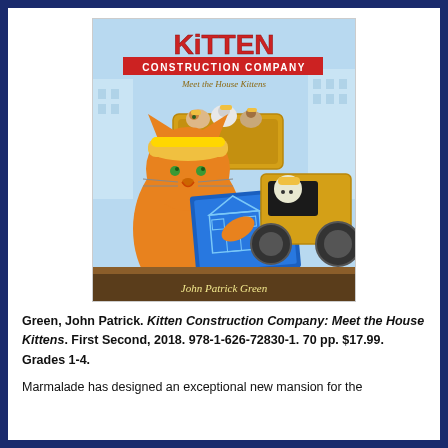[Figure (illustration): Book cover of 'Kitten Construction Company: Meet the House Kittens' by John Patrick Green. Shows cartoon kittens in hard hats riding construction equipment including a bulldozer, with one kitten holding blueprints of a house.]
Green, John Patrick. Kitten Construction Company: Meet the House Kittens. First Second, 2018. 978-1-626-72830-1. 70 pp. $17.99. Grades 1-4.
Marmalade has designed an exceptional new mansion for the